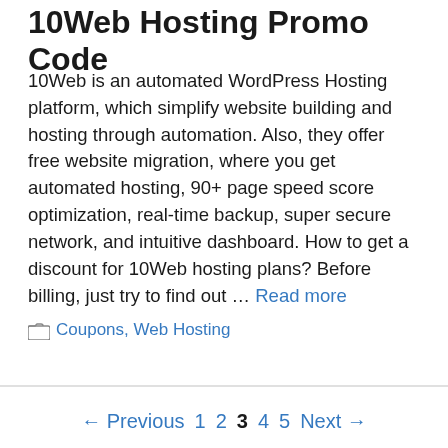10Web Hosting Promo Code
10Web is an automated WordPress Hosting platform, which simplify website building and hosting through automation. Also, they offer free website migration, where you get automated hosting, 90+ page speed score optimization, real-time backup, super secure network, and intuitive dashboard. How to get a discount for 10Web hosting plans? Before billing, just try to find out … Read more
Coupons, Web Hosting
← Previous 1 2 3 4 5 Next →